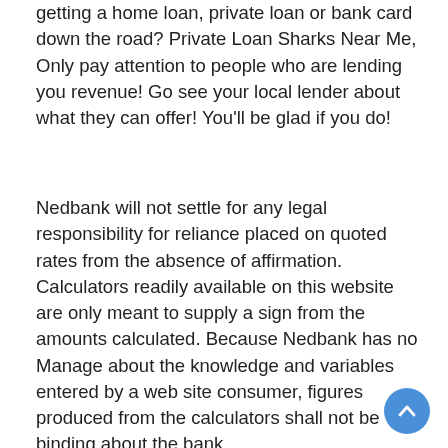getting a home loan, private loan or bank card down the road? Private Loan Sharks Near Me, Only pay attention to people who are lending you revenue! Go see your local lender about what they can offer! You'll be glad if you do!
Nedbank will not settle for any legal responsibility for reliance placed on quoted rates from the absence of affirmation. Calculators readily available on this website are only meant to supply a sign from the amounts calculated. Because Nedbank has no Manage about the knowledge and variables entered by a web site consumer, figures produced from the calculators shall not be binding about the bank.